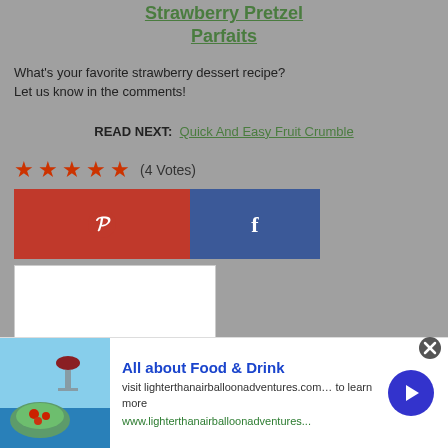Strawberry Pretzel Parfaits
What's your favorite strawberry dessert recipe?
Let us know in the comments!
READ NEXT: Quick And Easy Fruit Crumble
★★★★★ (4 Votes)
[Figure (screenshot): Social share buttons: Pinterest (red) and Facebook (blue), plus a video player overlay with play/pause controls and mute button on dark background]
[Figure (infographic): Advertisement banner: All about Food & Drink - visit lighterthanairballoonadventures.com... to learn more. www.lighterthanairballoonadventures... with food image and arrow button]